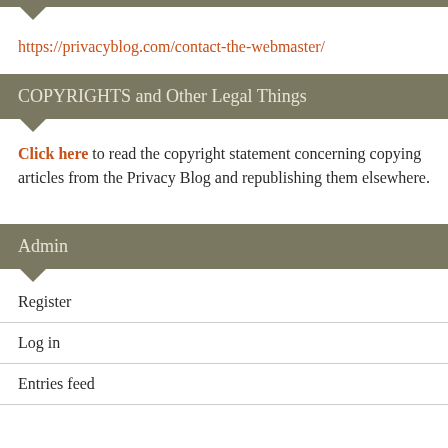https://privacyblog.com/contact-the-webmaster/
COPYRIGHTS and Other Legal Things
Click here to read the copyright statement concerning copying articles from the Privacy Blog and republishing them elsewhere.
Admin
Register
Log in
Entries feed